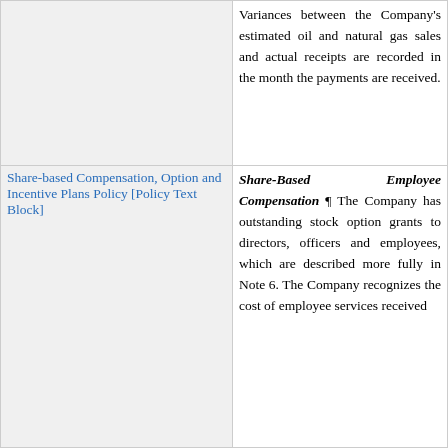|  | Variances between the Company's estimated oil and natural gas sales and actual receipts are recorded in the month the payments are received. |
| Share-based Compensation, Option and Incentive Plans Policy [Policy Text Block] | Share-Based Employee Compensation ¶ The Company has outstanding stock option grants to directors, officers and employees, which are described more fully in Note 6. The Company recognizes the cost of employee services received |